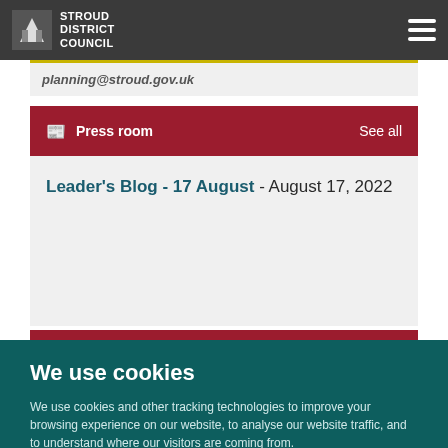Stroud District Council
planning@stroud.gov.uk
Press room  See all
Leader's Blog - 17 August - August 17, 2022
We use cookies
We use cookies and other tracking technologies to improve your browsing experience on our website, to analyse our website traffic, and to understand where our visitors are coming from.